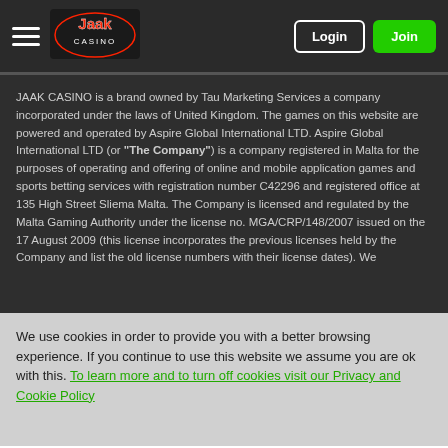JAAK CASINO - Login | Join
JAAK CASINO is a brand owned by Tau Marketing Services a company incorporated under the laws of United Kingdom. The games on this website are powered and operated by Aspire Global International LTD. Aspire Global International LTD (or "The Company") is a company registered in Malta for the purposes of operating and offering of online and mobile application games and sports betting services with registration number C42296 and registered office at 135 High Street Sliema Malta. The Company is licensed and regulated by the Malta Gaming Authority under the license no. MGA/CRP/148/2007 issued on the 17 August 2009 (this license incorporates the previous licenses held by the Company and list the old license numbers with their license dates). We
We use cookies in order to provide you with a better browsing experience. If you continue to use this website we assume you are ok with this. To learn more and to turn off cookies visit our Privacy and Cookie Policy